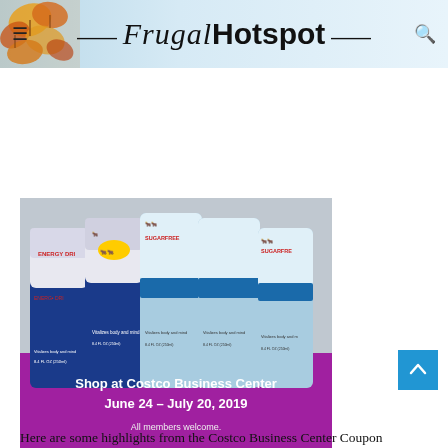Frugal Hotspot
[Figure (photo): Red Bull energy drink cans (regular and sugar-free) arranged together with promotional text: 'Shop at Costco Business Center June 24 – July 20, 2019. All members welcome.' on a purple/magenta background.]
Here are some highlights from the Costco Business Center Coupon